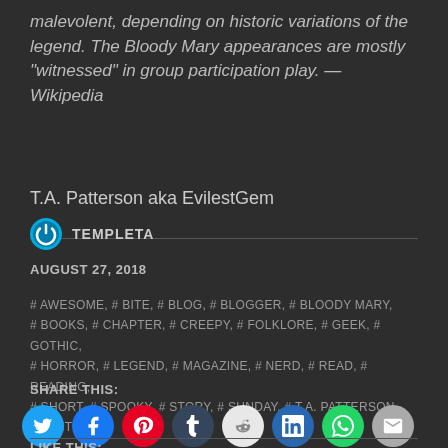malevolent, depending on historic variations of the legend. The Bloody Mary appearances are mostly "witnessed" in group participation play. — Wikipedia
T.A. Patterson aka EvilestGem
TEMPLETA
AUGUST 27, 2018
# AWESOME, # BITE, # BLOG, # BLOGGER, # BLOODY MARY, # BOOKS, # CHAPTER, # CREEPY, # FOLKLORE, # GEEK, # GOTHIC, # HORROR, # LEGEND, # MAGAZINE, # NERD, # READ, # READING, # SHORT, # SPOOKY, # STORY, # SUNDAY, # T.A. PATTERSON, # WRITER
SHARE THIS:
[Figure (infographic): Social share buttons: Twitter (cyan), Facebook (blue), Pinterest (red), Tumblr (dark blue), Reddit (light gray), LinkedIn (dark cyan), WhatsApp (green), Email (gray)]
LIKE THIS: